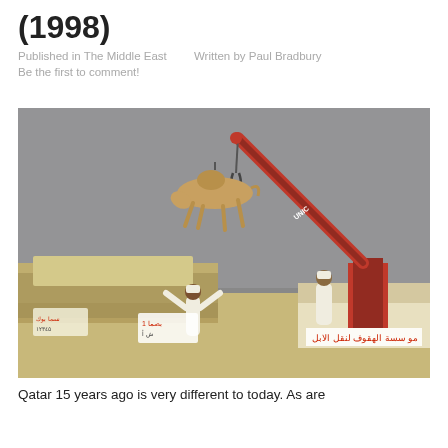(1998)
Published in The Middle East   Written by Paul Bradbury
Be the first to comment!
[Figure (photo): A camel suspended mid-air by a crane hook above a camel market, with a man in white robe raising arms in the foreground and Arabic text on a truck visible in the background. Desert/dusty environment.]
Qatar 15 years ago is very different to today. As are